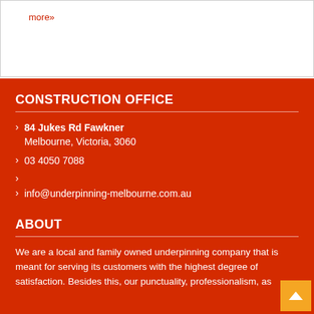more»
CONSTRUCTION OFFICE
84 Jukes Rd Fawkner Melbourne, Victoria, 3060
03 4050 7088
info@underpinning-melbourne.com.au
ABOUT
We are a local and family owned underpinning company that is meant for serving its customers with the highest degree of satisfaction. Besides this, our punctuality, professionalism, as